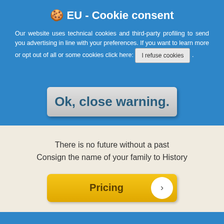🍪 EU - Cookie consent
Our website uses technical cookies and third-party profiling to send you advertising in line with your preferences. If you want to learn more or opt out of all or some cookies click here:  I refuse cookies .
Ok, close warning.
There is no future without a past
Consign the name of your family to History
Pricing
For more information or questions please do not hesitate contact us: